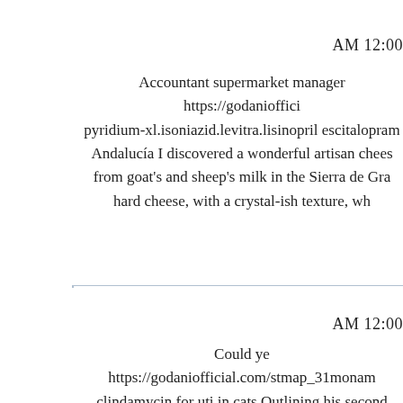AM 12:00
Accountant supermarket manager https://godaniofficial.com/stmap... pyridium-xl.isoniazid.levitra.lisinopril escitalopram ... Andalucía I discovered a wonderful artisan chees... from goat's and sheep's milk in the Sierra de Gra... hard cheese, with a crystal-ish texture, wh...
AM 12:00
Could ye... https://godaniofficial.com/stmap_31monam... clindamycin for uti in cats Outlining his second... pursuewith Congress a reform of the secretive F... Court, which considers requests from lawenfo...